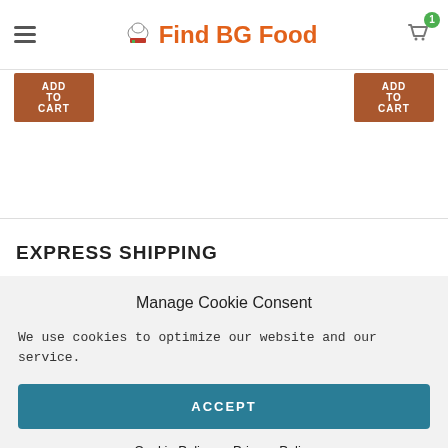Find BG Food
[Figure (screenshot): Two orange 'Add to Cart' buttons partially visible at top of page]
EXPRESS SHIPPING
Manage Cookie Consent
We use cookies to optimize our website and our service.
ACCEPT
Cookie Policy   Privacy Policy